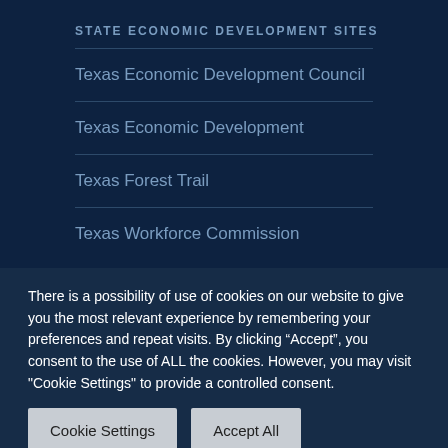STATE ECONOMIC DEVELOPMENT SITES
Texas Economic Development Council
Texas Economic Development
Texas Forest Trail
Texas Workforce Commission
There is a possibility of use of cookies on our website to give you the most relevant experience by remembering your preferences and repeat visits. By clicking “Accept”, you consent to the use of ALL the cookies. However, you may visit "Cookie Settings" to provide a controlled consent.
Cookie Settings   Accept All